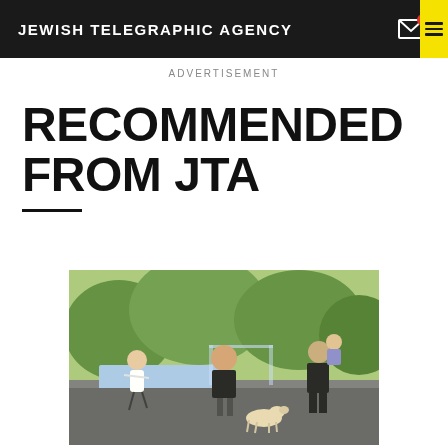JEWISH TELEGRAPHIC AGENCY
ADVERTISEMENT
RECOMMENDED FROM JTA
[Figure (photo): Outdoor family scene near a pool. A man in a black t-shirt and shorts stands in the center with a novelty mask face. A young girl in a white dress runs on the left. A woman in black holds a child on the right. A dog is in the middle. Background shows green trees and a glass railing by a pool.]